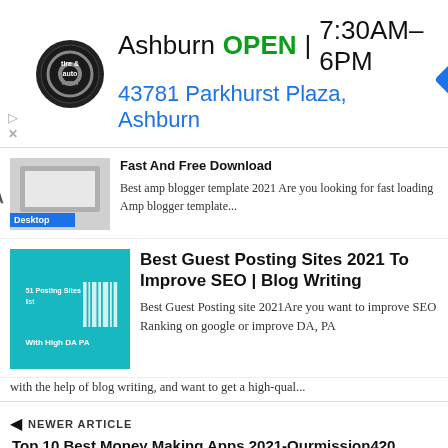[Figure (infographic): Advertisement banner: Tire & Auto logo, 'Ashburn OPEN | 7:30AM–6PM' with blue navigation arrow, and address '43781 Parkhurst Plaza, Ashburn']
Fast And Free Download
Best amp blogger template 2021 Are you looking for fast loading Amp blogger template...
Best Guest Posting Sites 2021 To Improve SEO | Blog Writing
Best Guest Posting site 2021Are you want to improve SEO Ranking on google or improve DA, PA with the help of blog writing, and want to get a high-qual...
NEWER ARTICLE
Top 10 Best Money Making Apps 2021-Ourmission420
OLDER ARTICLE
6 Way To Increase Adsense CPC 2021 | Tips And Tricks- Ourmission420